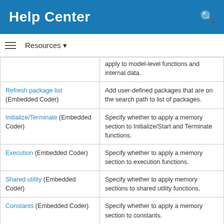Help Center
| [partial row above] | apply to model-level functions and internal data. |
| Refresh package list (Embedded Coder) | Add user-defined packages that are on the search path to list of packages. |
| Initialize/Terminate (Embedded Coder) | Specify whether to apply a memory section to Initialize/Start and Terminate functions. |
| Execution (Embedded Coder) | Specify whether to apply a memory section to execution functions. |
| Shared utility (Embedded Coder) | Specify whether to apply memory sections to shared utility functions. |
| Constants (Embedded Coder) | Specify whether to apply a memory section to constants. |
| Inputs/Outputs (Embedded Coder) | Specify whether to apply a memory section to root input |